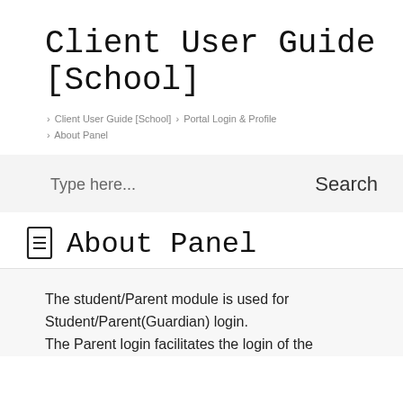Client User Guide [School]
> Client User Guide [School] > Portal Login & Profile > About Panel
Type here... Search
About Panel
The student/Parent module is used for Student/Parent(Guardian) login. The Parent login facilitates the login of the